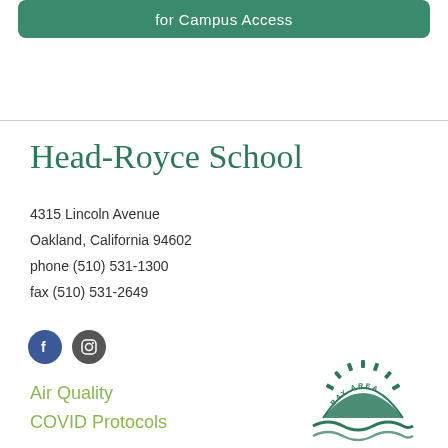[Figure (other): Green rounded button/banner with text 'for Campus Access' in white]
Head-Royce School
4315 Lincoln Avenue
Oakland, California 94602
phone (510) 531-1300
fax (510) 531-2649
[Figure (logo): Facebook and Instagram social media icon circles]
Air Quality
COVID Protocols
[Figure (logo): Bay Area logo — a green sun/gear rising over stylized waves]